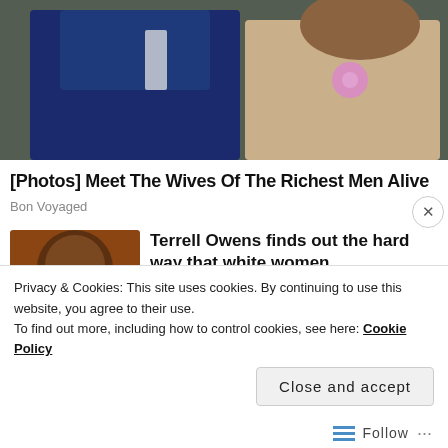[Figure (photo): Two people seated side by side, one in a dark navy suit, one in a lace dress with a pink flower]
[Photos] Meet The Wives Of The Richest Men Alive
Bon Voyaged
[Figure (photo): Man with sunglasses, dark skin, photographed at a sports event]
Terrell Owens finds out the hard way that white women
Privacy & Cookies: This site uses cookies. By continuing to use this website, you agree to their use.
To find out more, including how to control cookies, see here: Cookie Policy
Close and accept